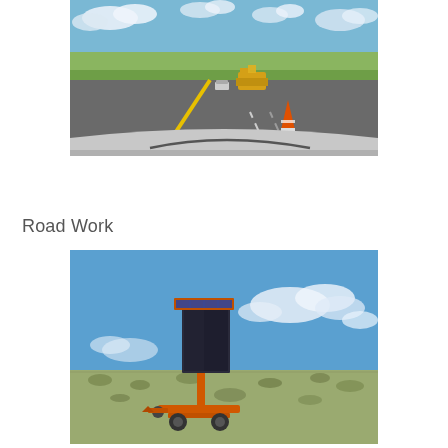[Figure (photo): View from inside a vehicle on a highway with road construction ahead. A yellow paving machine and orange traffic cone are visible. The road is a two-lane divided highway in an open flat area under blue sky with clouds.]
Road Work
[Figure (photo): An orange portable variable message sign (VMS) or dynamic message board on a trailer, standing in an open scrubland area under a bright blue sky with scattered clouds. The sign panel is dark/gray and mounted on an orange frame with a solar panel on top.]